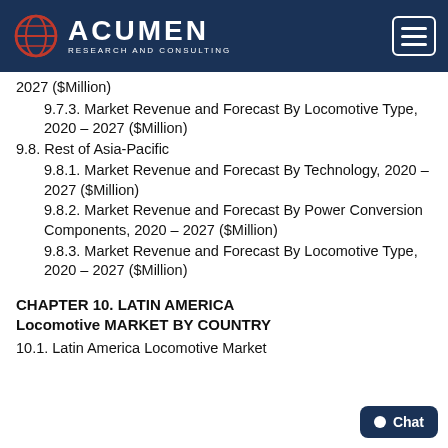Acumen Research and Consulting
2027 ($Million)
9.7.3. Market Revenue and Forecast By Locomotive Type, 2020 - 2027 ($Million)
9.8. Rest of Asia-Pacific
9.8.1. Market Revenue and Forecast By Technology, 2020 - 2027 ($Million)
9.8.2. Market Revenue and Forecast By Power Conversion Components, 2020 - 2027 ($Million)
9.8.3. Market Revenue and Forecast By Locomotive Type, 2020 - 2027 ($Million)
CHAPTER 10. LATIN AMERICA Locomotive MARKET BY COUNTRY
10.1. Latin America Locomotive Market